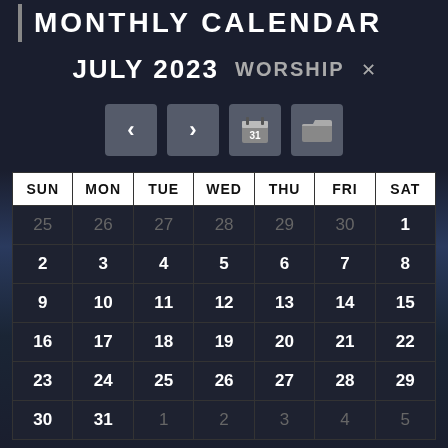MONTHLY CALENDAR
JULY 2023  WORSHIP  ×
[Figure (other): Navigation buttons: previous (<), next (>), calendar (31), folder icons]
| SUN | MON | TUE | WED | THU | FRI | SAT |
| --- | --- | --- | --- | --- | --- | --- |
| 25 | 26 | 27 | 28 | 29 | 30 | 1 |
| 2 | 3 | 4 | 5 | 6 | 7 | 8 |
| 9 | 10 | 11 | 12 | 13 | 14 | 15 |
| 16 | 17 | 18 | 19 | 20 | 21 | 22 |
| 23 | 24 | 25 | 26 | 27 | 28 | 29 |
| 30 | 31 | 1 | 2 | 3 | 4 | 5 |